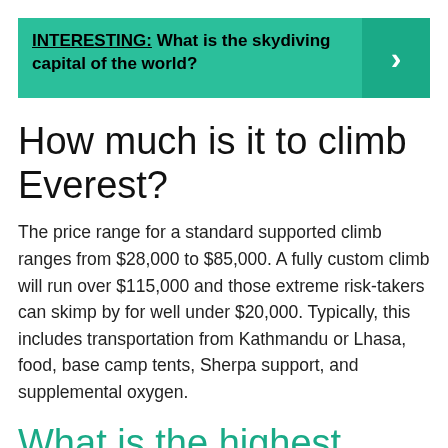INTERESTING: What is the skydiving capital of the world?
How much is it to climb Everest?
The price range for a standard supported climb ranges from $28,000 to $85,000. A fully custom climb will run over $115,000 and those extreme risk-takers can skimp by for well under $20,000. Typically, this includes transportation from Kathmandu or Lhasa, food, base camp tents, Sherpa support, and supplemental oxygen.
What is the highest skydive